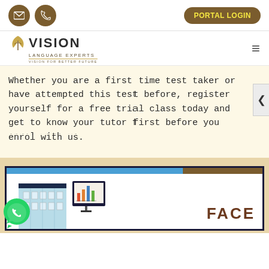PORTAL LOGIN
[Figure (logo): Vision Language Experts logo with leaf icon and tagline VISION FOR BETTER FUTURE]
Whether you are a first time test taker or have attempted this test before, register yourself for a free trial class today and get to know your tutor first before you enrol with us.
[Figure (illustration): Face-to-face class illustration showing a building, screen with chart, and FACE text label with WhatsApp icon overlay]